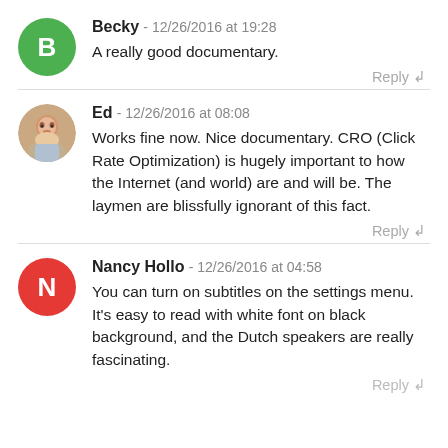Becky - 12/26/2016 at 19:28
A really good documentary.
Reply
Ed - 12/26/2016 at 08:08
Works fine now. Nice documentary. CRO (Click Rate Optimization) is hugely important to how the Internet (and world) are and will be. The laymen are blissfully ignorant of this fact.
Reply
Nancy Hollo - 12/26/2016 at 04:58
You can turn on subtitles on the settings menu. It's easy to read with white font on black background, and the Dutch speakers are really fascinating.
Reply